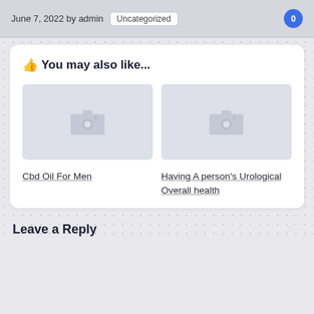June 7, 2022 by admin  Uncategorized  0
👍 You may also like...
[Figure (photo): Placeholder image thumbnail (camera icon) for Cbd Oil For Men article]
[Figure (photo): Placeholder image thumbnail (camera icon) for Having A person's Urological Overall health article]
Cbd Oil For Men
Having A person's Urological Overall health
Leave a Reply